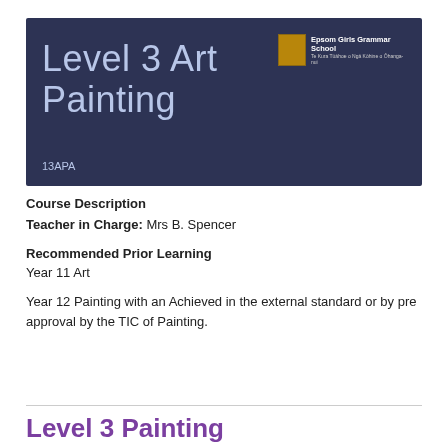Level 3 Art Painting
13APA
[Figure (logo): Epsom Girls Grammar School logo with school crest and name]
Course Description
Teacher in Charge: Mrs B. Spencer
Recommended Prior Learning
Year 11 Art
Year 12 Painting with an Achieved in the external standard or by pre approval by the TIC of Painting.
Level 3 Painting